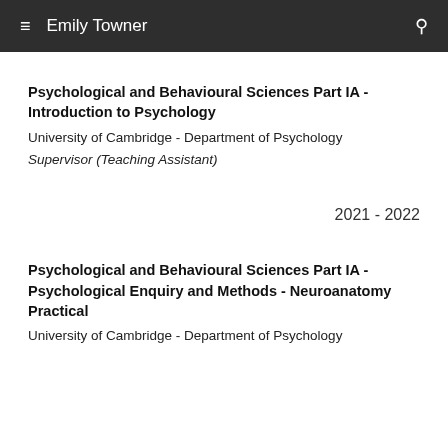≡ Emily Towner 🔍
Psychological and Behavioural Sciences Part IA - Introduction to Psychology
University of Cambridge - Department of Psychology
Supervisor (Teaching Assistant)
2021 - 2022
Psychological and Behavioural Sciences Part IA - Psychological Enquiry and Methods - Neuroanatomy Practical
University of Cambridge - Department of Psychology